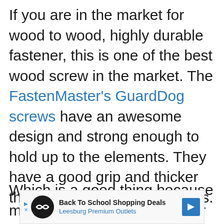If you are in the market for wood to wood, highly durable fastener, this is one of the best wood screw in the market. The FastenMaster's GuardDog screws have an awesome design and strong enough to hold up to the elements. They have a good grip and thicker than traditional drywall screws.
Which is a good thing because most people nowadays prefer thicker screws for woodworking projects. On top of that, you don't need to use any pilot...
[Figure (other): Advertisement banner: Back To School Shopping Deals - Leesburg Premium Outlets]